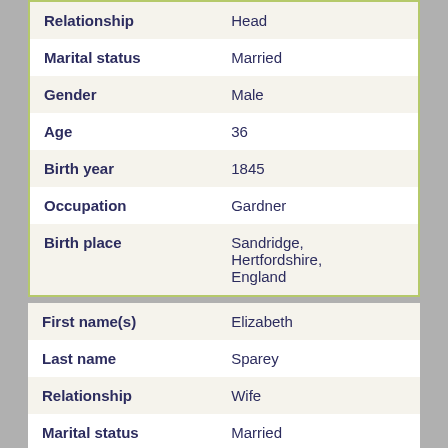| Field | Value |
| --- | --- |
| Relationship | Head |
| Marital status | Married |
| Gender | Male |
| Age | 36 |
| Birth year | 1845 |
| Occupation | Gardner |
| Birth place | Sandridge, Hertfordshire, England |
| Field | Value |
| --- | --- |
| First name(s) | Elizabeth |
| Last name | Sparey |
| Relationship | Wife |
| Marital status | Married |